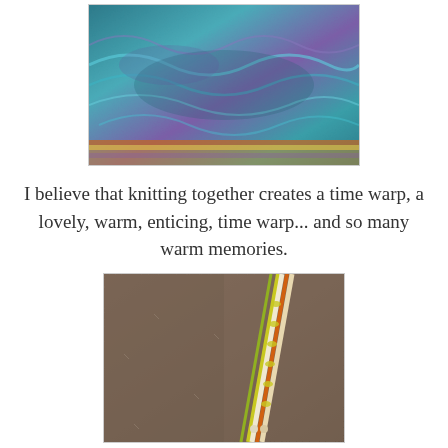[Figure (photo): Close-up photo of a teal and purple knitted lace shawl or wrap, draped and folded to show texture and pattern.]
I believe that knitting together creates a time warp, a lovely, warm, enticing, time warp... and so many warm memories.
[Figure (photo): Close-up photo of knitting needles (beige/white) with yellow and orange yarn laid on a brown textured fabric surface.]